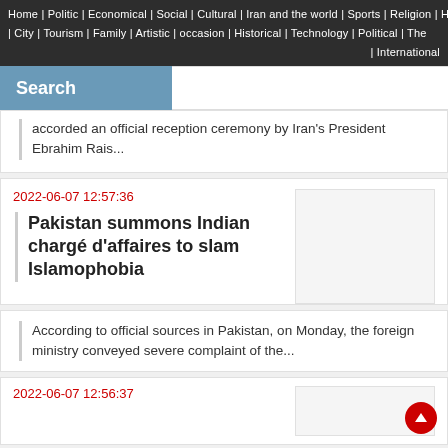Home | Politic | Economical | Social | Cultural | Iran and the world | Sports | Religion | Health
| City | Tourism | Family | Artistic | occasion | Historical | Technology | Political | The
| International
Search
accorded an official reception ceremony by Iran's President Ebrahim Rais...
2022-06-07 12:57:36
Pakistan summons Indian chargé d'affaires to slam Islamophobia
According to official sources in Pakistan, on Monday, the foreign ministry conveyed severe complaint of the...
2022-06-07 12:56:37